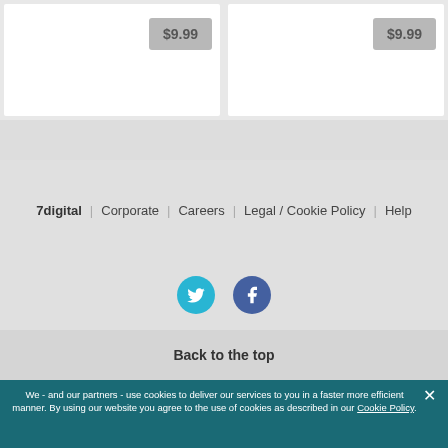$9.99
$9.99
7digital   Corporate   Careers   Legal / Cookie Policy   Help
[Figure (illustration): Twitter bird icon in cyan circle]
[Figure (illustration): Facebook f icon in dark blue circle]
Back to the top
We - and our partners - use cookies to deliver our services to you in a faster more efficient manner. By using our website you agree to the use of cookies as described in our Cookie Policy.